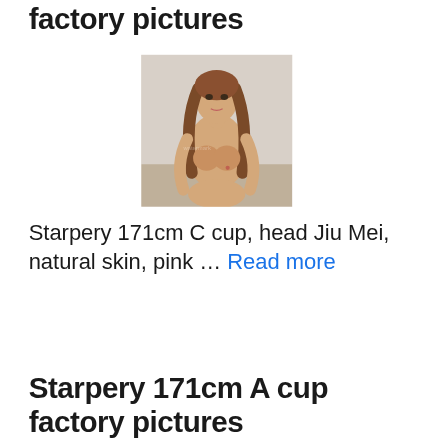factory pictures
[Figure (photo): Product photo showing a realistic humanoid figure with long brown hair, sitting pose, light skin tone, against a light gray background.]
Starpery 171cm C cup, head Jiu Mei, natural skin, pink … Read more
Starpery 171cm A cup factory pictures